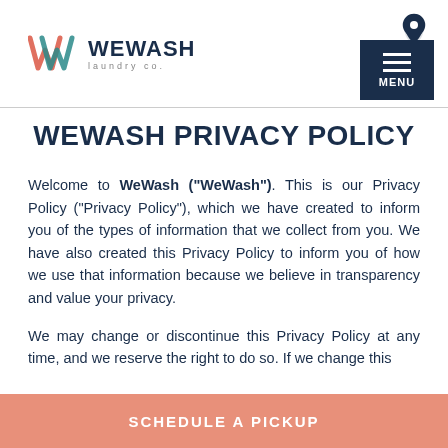[Figure (logo): WeWash Laundry Co. logo with stylized W in coral/teal colors and dark navy text]
WEWASH PRIVACY POLICY
Welcome to WeWash ("WeWash"). This is our Privacy Policy ("Privacy Policy"), which we have created to inform you of the types of information that we collect from you. We have also created this Privacy Policy to inform you of how we use that information because we believe in transparency and value your privacy.
We may change or discontinue this Privacy Policy at any time, and we reserve the right to do so. If we change this
SCHEDULE A PICKUP